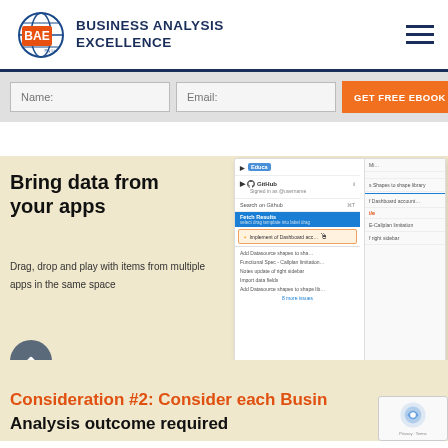[Figure (logo): Business Analysis Excellence (BAE) logo with globe graphic and orange/blue text]
BUSINESS ANALYSIS EXCELLENCE
[Figure (screenshot): Screenshot of a web application showing GitHub integration panel with items like 'Add Datasource shapes to shape library', 'Implement of Dashboard account...', and a context menu dropdown]
Bring data from your apps
Drag, drop and play with items from multiple apps in the same space
Consideration #2: Consider each Business Analysis outcome required